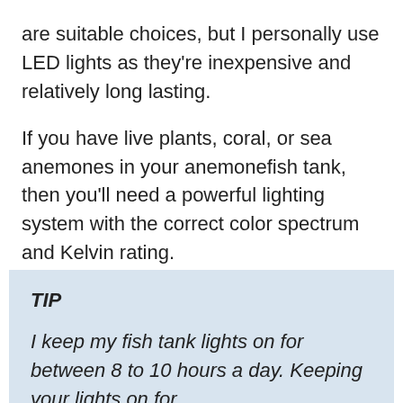are suitable choices, but I personally use LED lights as they're inexpensive and relatively long lasting.
If you have live plants, coral, or sea anemones in your anemonefish tank, then you'll need a powerful lighting system with the correct color spectrum and Kelvin rating.
TIP
I keep my fish tank lights on for between 8 to 10 hours a day. Keeping your lights on for